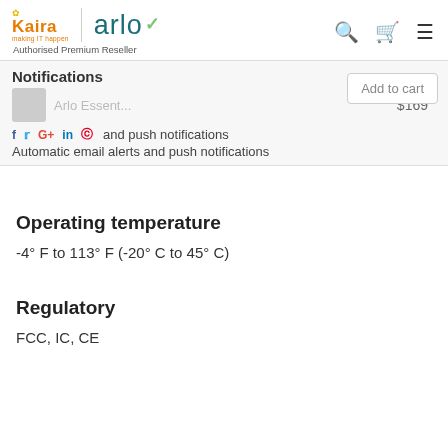Kaira | arlo Authorised Premium Reseller
Notifications
Arlo Essent... $169 Add to cart
Automatic email alerts and push notifications
Operating temperature
-4° F to 113° F (-20° C to 45° C)
Regulatory
FCC, IC, CE